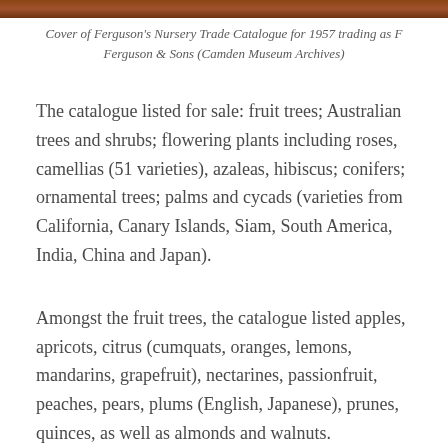[Figure (photo): Top strip of a historical nursery catalogue cover image, showing brown/reddish tones]
Cover of Ferguson's Nursery Trade Catalogue for 1957 trading as F Ferguson & Sons (Camden Museum Archives)
The catalogue listed for sale: fruit trees; Australian trees and shrubs; flowering plants including roses, camellias (51 varieties), azaleas, hibiscus; conifers; ornamental trees; palms and cycads (varieties from California, Canary Islands, Siam, South America, India, China and Japan).
Amongst the fruit trees, the catalogue listed apples, apricots, citrus (cumquats, oranges, lemons, mandarins, grapefruit), nectarines, passionfruit, peaches, pears, plums (English, Japanese), prunes, quinces, as well as almonds and walnuts.
Roses were a speciality and included novelty roses for 1957, standard roses and others. The catalogue provided